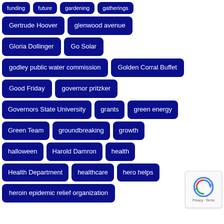funding
future
gardening
gatherings
Gertrude Hoover
glenwood avenue
Gloria Dollinger
Go Solar
godley public water commission
Golden Corral Buffet
Good Friday
governor pritzker
Governors State University
grants
green energy
Green Team
groundbreaking
growth
halloween
Harold Damron
health
Health Department
healthcare
hero helps
heroin epidemic relief organization